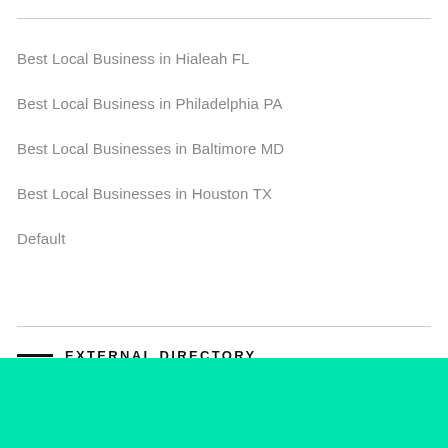Best Local Business in Hialeah FL
Best Local Business in Philadelphia PA
Best Local Businesses in Baltimore MD
Best Local Businesses in Houston TX
Default
EXTERNAL DIRECTORY
Add...  Dentist...